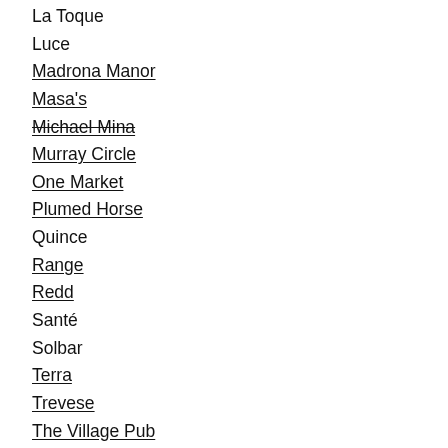La Toque
Luce
Madrona Manor
Masa's
Michael Mina
Murray Circle
One Market
Plumed Horse
Quince
Range
Redd
Santé
Solbar
Terra
Trevese
The Village Pub
Ubuntu